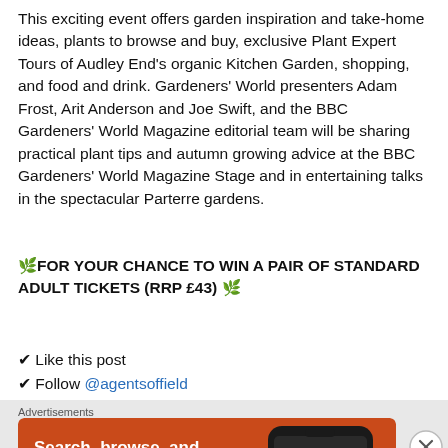This exciting event offers garden inspiration and take-home ideas, plants to browse and buy, exclusive Plant Expert Tours of Audley End's organic Kitchen Garden, shopping, and food and drink. Gardeners' World presenters Adam Frost, Arit Anderson and Joe Swift, and the BBC Gardeners' World Magazine editorial team will be sharing practical plant tips and autumn growing advice at the BBC Gardeners' World Magazine Stage and in entertaining talks in the spectacular Parterre gardens.
🌿FOR YOUR CHANCE TO WIN A PAIR OF STANDARD ADULT TICKETS (RRP £43) 🌿
✔ Like this post
✔ Follow @agentsoffield
✔ Tag a friend in the comments below (up to 3 friends can be tagged for a maximum of 3 entries into the competition - please
Advertisements
[Figure (illustration): DuckDuckGo advertisement banner on orange background. Text: Search, browse, and email with more privacy. All in One Free App. DuckDuckGo logo with duck icon on a phone mockup.]